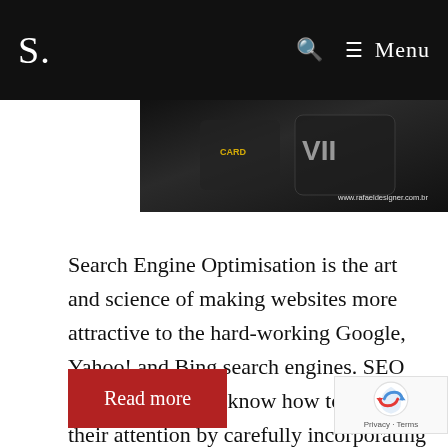S. | Menu
[Figure (photo): Dark background photo of electronic device/remote control with text watermark www.rafaeldesigner.com.br]
Search Engine Optimisation is the art and science of making websites more attractive to the hard-working Google, Yahoo! and Bing search engines. SEO specialists like us know how to attract their attention by carefully incorporating ...
Read more